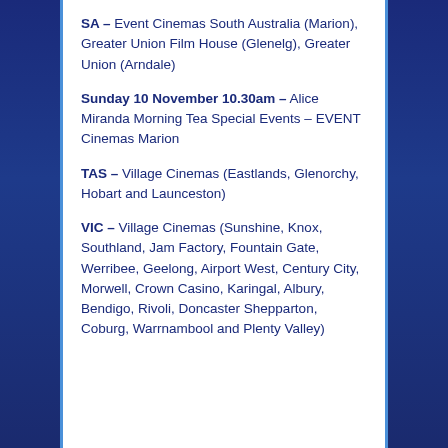SA – Event Cinemas South Australia (Marion), Greater Union Film House (Glenelg), Greater Union (Arndale)
Sunday 10 November 10.30am – Alice Miranda Morning Tea Special Events – EVENT Cinemas Marion
TAS – Village Cinemas (Eastlands, Glenorchy, Hobart and Launceston)
VIC – Village Cinemas (Sunshine, Knox, Southland, Jam Factory, Fountain Gate, Werribee, Geelong, Airport West, Century City, Morwell, Crown Casino, Karingal, Albury, Bendigo, Rivoli, Doncaster Shepparton, Coburg, Warrnambool and Plenty Valley)